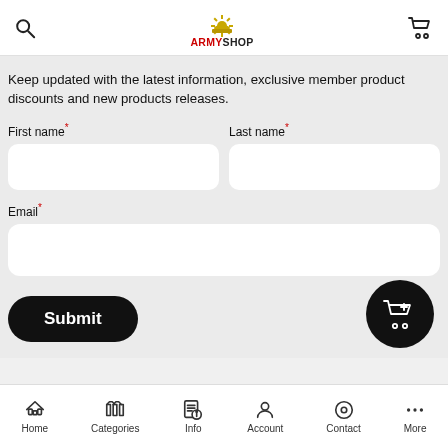[Figure (logo): Army Shop logo with golden sunburst emblem and text ARMYSHOP]
Keep updated with the latest information, exclusive member product discounts and new products releases.
First name* (form input field)
Last name* (form input field)
Email* (form input field)
Submit button
[Figure (infographic): Black circular floating action button with shopping cart plus icon]
Home | Categories | Info | Account | Contact | More